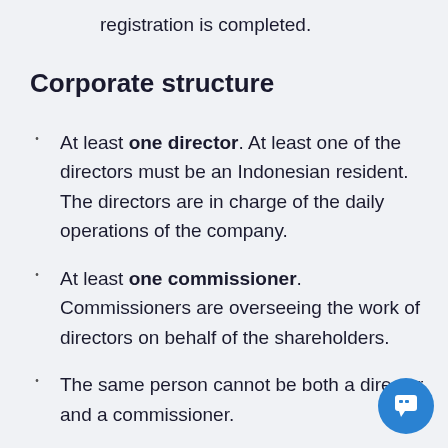registration is completed.
Corporate structure
At least one director. At least one of the directors must be an Indonesian resident. The directors are in charge of the daily operations of the company.
At least one commissioner. Commissioners are overseeing the work of directors on behalf of the shareholders.
The same person cannot be both a director and a commissioner.